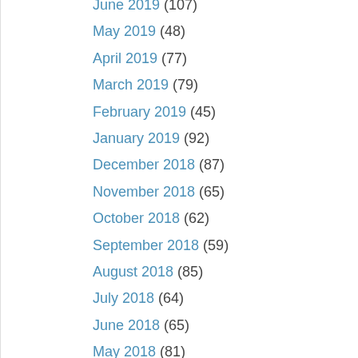June 2019 (107)
May 2019 (48)
April 2019 (77)
March 2019 (79)
February 2019 (45)
January 2019 (92)
December 2018 (87)
November 2018 (65)
October 2018 (62)
September 2018 (59)
August 2018 (85)
July 2018 (64)
June 2018 (65)
May 2018 (81)
April 2018 (83)
March 2018 (99)